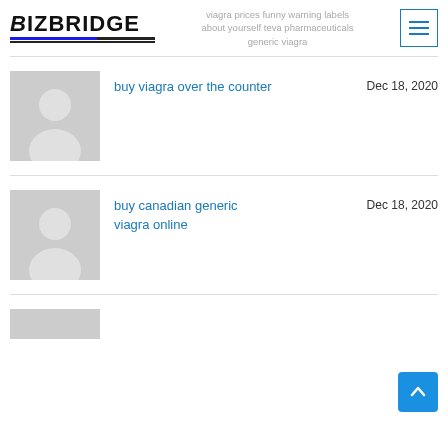BizBridge
viagra prices funny warning labels about yourself teva pharmaceuticals generic viagra
buy viagra over the counter — Dec 18, 2020
buy canadian generic viagra online — Dec 18, 2020